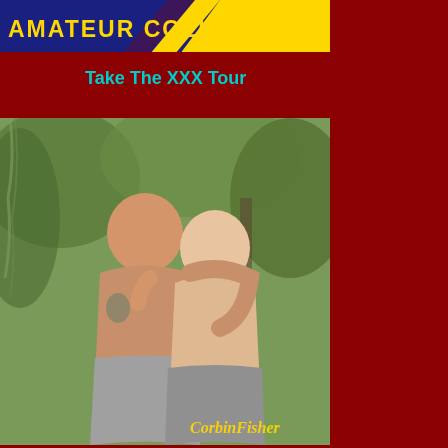[Figure (logo): Amateur College Men banner logo with blue and yellow diagonal stripe background and gold text]
Take The XXX Tour
[Figure (photo): Two shirtless young men kissing outdoors in a wooded setting, with a Corbin Fisher watermark in the lower right corner]